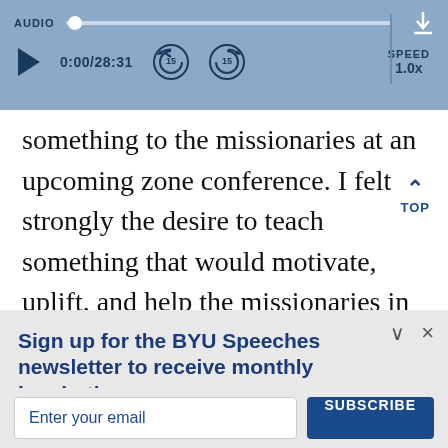[Figure (screenshot): Audio player bar with play button, time display 0:00/28:31, skip back 15s and skip forward 15s buttons, speed 1.0x, and download icon. Progress bar shown at top with scrubber.]
something to the missionaries at an upcoming zone conference. I felt strongly the desire to teach something that would motivate, uplift. and help the missionaries in our zone. I remember the weight I felt on my shoulders
Sign up for the BYU Speeches newsletter to receive monthly inspiration.
A little hope in your inbox.
Enter your email
SUBSCRIBE